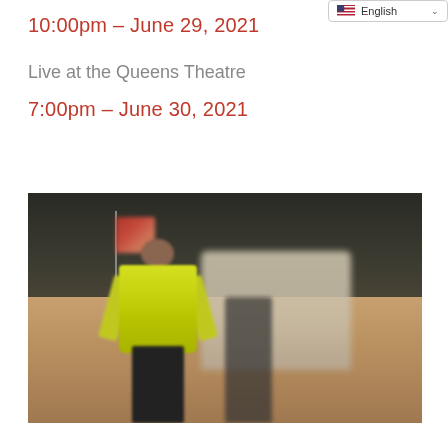10:00pm – June 29, 2021
Live at the Queens Theatre
7:00pm – June 30, 2021
[Figure (photo): Blurry outdoor photo showing a person wearing a bright yellow safety vest standing on a road, with an American flag visible in the background on the left, and a blurry monument or sign structure on the right background.]